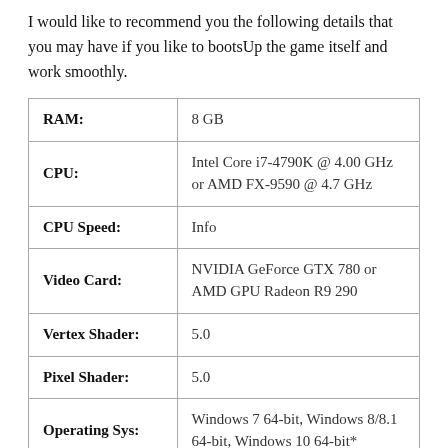I would like to recommend you the following details that you may have if you like to bootsUp the game itself and work smoothly.
| RAM: | 8 GB |
| CPU: | Intel Core i7-4790K @ 4.00 GHz or AMD FX-9590 @ 4.7 GHz |
| CPU Speed: | Info |
| Video Card: | NVIDIA GeForce GTX 780 or AMD GPU Radeon R9 290 |
| Vertex Shader: | 5.0 |
| Pixel Shader: | 5.0 |
| Operating Sys: | Windows 7 64-bit, Windows 8/8.1 64-bit, Windows 10 64-bit* |